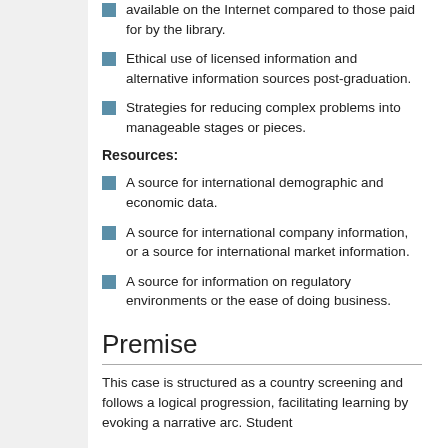available on the Internet compared to those paid for by the library.
Ethical use of licensed information and alternative information sources post-graduation.
Strategies for reducing complex problems into manageable stages or pieces.
Resources:
A source for international demographic and economic data.
A source for international company information, or a source for international market information.
A source for information on regulatory environments or the ease of doing business.
Premise
This case is structured as a country screening and follows a logical progression, facilitating learning by evoking a narrative arc. Student